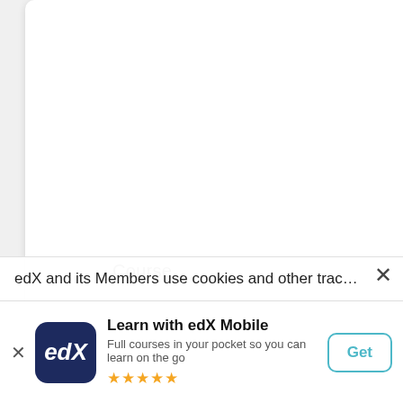Course
[Figure (screenshot): Marketing Foundations course card with salmon/orange background showing 'MARKETING' text banner and DOANEX logo on white overlay box]
Marketing Foundations
edX and its Members use cookies and other tracking
Learn with edX Mobile
Full courses in your pocket so you can learn on the go
Get